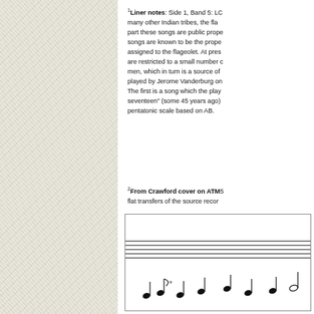[Figure (illustration): Textured cream/beige patterned background panel on the left side of the page]
1Liner notes: Side 1, Band 5: LC many other Indian tribes, the fla part these songs are public prope songs are known to be the prope assigned to the flageolet. At pres are restricted to a small number men, which in turn is a source of played by Jerome Vanderburg on The first is a song which the play seventeen" (some 45 years ago) pentatonic scale based on AB.
2From Crawford cover on ATMS flat transfers of the source recor
[Figure (illustration): Musical score notation showing staff lines and musical notes at the bottom of the page]